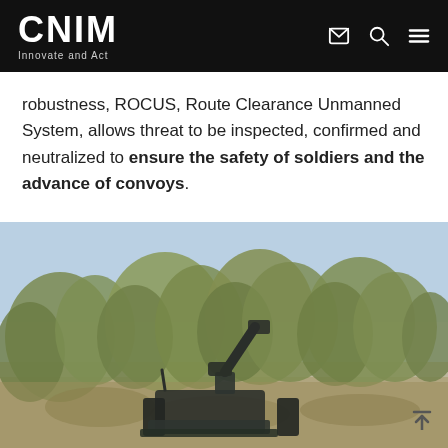CNIM — Innovate and Act
robustness, ROCUS, Route Clearance Unmanned System, allows threat to be inspected, confirmed and neutralized to ensure the safety of soldiers and the advance of convoys.
[Figure (photo): An unmanned ground vehicle (ROCUS) in an outdoor terrain setting with trees and dry vegetation in the background. The robot is dark-colored and has a mechanical arm or boom extended upward.]